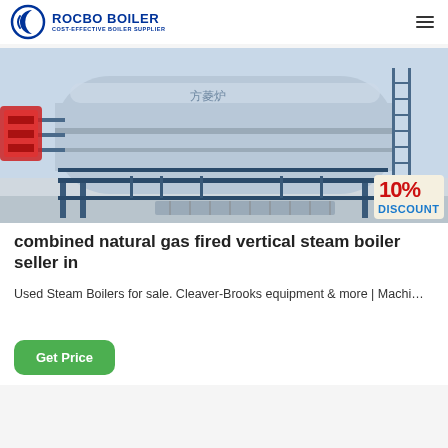ROCBO BOILER — COST-EFFECTIVE BOILER SUPPLIER
[Figure (photo): Industrial horizontal steam boiler on a blue metal frame support structure, photographed in a facility. A red component is visible on the left side. A 10% DISCOUNT badge is overlaid on the bottom-right corner of the image.]
combined natural gas fired vertical steam boiler seller in
Used Steam Boilers for sale. Cleaver-Brooks equipment & more | Machi…